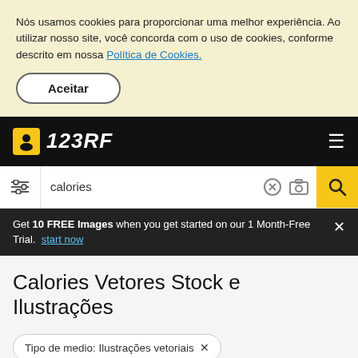Nós usamos cookies para proporcionar uma melhor experiência. Ao utilizar nosso site, você concorda com o uso de cookies, conforme descrito em nossa Política de Cookies.
Aceitar
123RF
calories
Get 10 FREE Images when you get started on our 1 Month-Free Trial. start now
Calories Vetores Stock e Ilustrações
Tipo de medio: Ilustrações vetoriais ×